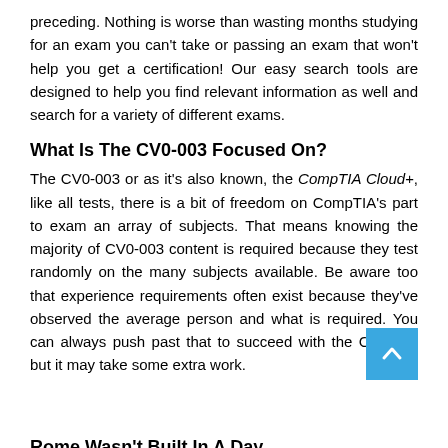preceding. Nothing is worse than wasting months studying for an exam you can't take or passing an exam that won't help you get a certification! Our easy search tools are designed to help you find relevant information as well and search for a variety of different exams.
What Is The CV0-003 Focused On?
The CV0-003 or as it's also known, the CompTIA Cloud+, like all tests, there is a bit of freedom on CompTIA's part to exam an array of subjects. That means knowing the majority of CV0-003 content is required because they test randomly on the many subjects available. Be aware too that experience requirements often exist because they've observed the average person and what is required. You can always push past that to succeed with the CV0-003 but it may take some extra work.
Rome Wasn't Built In A Day
Remember that...